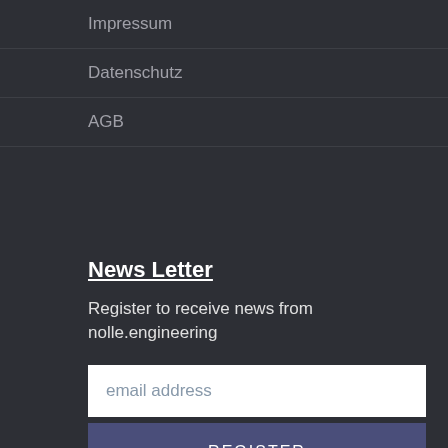Impressum
Datenschutz
AGB
News Letter
Register to receive news from nolle.engineering
email address
REGISTER
English